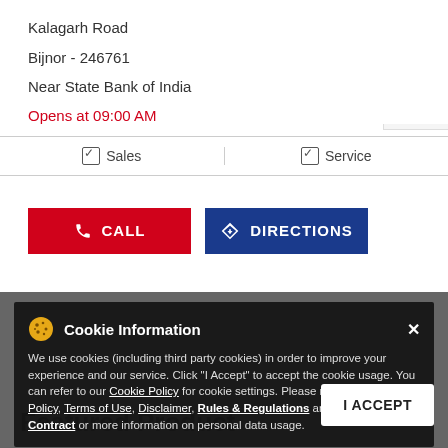Kalagarh Road
Bijnor - 246761
Near State Bank of India
Opens at 09:00 AM
☑ Sales   ☑ Service
CALL
DIRECTIONS
Cookie Information
We use cookies (including third party cookies) in order to improve your experience and our service. Click "I Accept" to accept the cookie usage. You can refer to our Cookie Policy for cookie settings. Please refer to our Privacy Policy, Terms of Use, Disclaimer, Rules & Regulations and Data Collection Contract or more information on personal data usage.
I ACCEPT
Featured Product